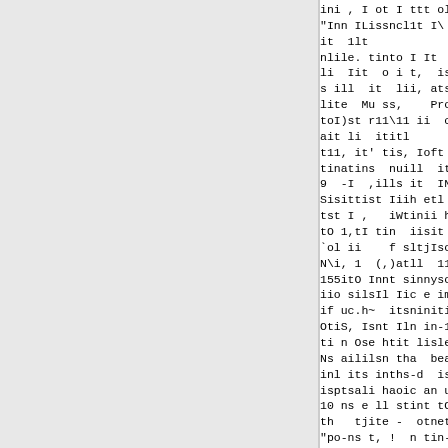ini , I ot I ttt olis tliin r
"Inn ILissncl1t I\ t11g,1I In 5
it  1lt            unt11) -p 1lit
nlile. tinto I It
li  Iit  o i t,  is i -n t nIna ,Il
s ill  it  lii, atst 1tts.t      i
lite  Mu ss,    Pro is is allo1Nenic
toI)st r11\11 ii  cPIat  55all "1-1
ait li  ititl       ato,  li    I cl
t11, it' tis, Ioft Doos Mo-iiannnd
tinatins  nuill  its  It  to  I  S i
9  -I  ,ills it  IN si  t .n Si Ii
Sisittist Iiih etl m.ime tint stii
tst I ,   iWtinii h ~ill, of6   .Tit
tO 1,tI tin  iisit \i n t       1is
`ol ii    f sltjIsotii  atd t itt a
N\i, 1  (,)atll  11,1 innii  In  t
155itO Innt sinnysolo-ia \Nolt lit
iio silsIl Iic e im -e  s Oil cr-i
if uc.h~  itsninitit  tiit txa tin
OtiS, Isnt Iln in-1 tn je-lj aPI Oi
ti n Ose htit lislen sfle tioil tir
Ns aililsn tha  beailda tnne linto
inl its inths-d  is -ils   iti s ,i
isptsali haoic an usntilt- ,tlush c
10 ns e ll stint tOI lintinsle lie
th   tjite -  otnet  Shet t ins--ir
"po-ns t, !  n tin-iitnt  iigpits
inanntsits-ha t   cosnld Inni pt fo
ilil tile Sh.d Ia..Ld eniedn tilt s
I  ti    Il  i itit il  iti i